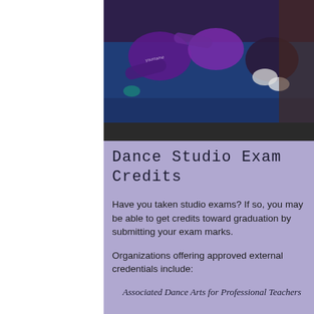[Figure (photo): Overhead photo of people in dance attire on a blue floor, wearing purple and black clothing with white accessories]
Dance Studio Exam Credits
Have you taken studio exams? If so, you may be able to get credits toward graduation by submitting your exam marks.
Organizations offering approved external credentials include:
Associated Dance Arts for Professional Teachers